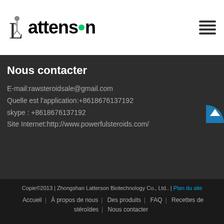[Figure (logo): Lattenson logo with figure icon and green dot replacing letter 'o']
Nous contacter
E-mail:rawsteroidsale@gmail.com
Quelle est l'application:+8618676137192
skype : +8618676137192
Site Internet:http://www.powerfulsteroids.com/
Copie©2013 | Zhongshan Latterson Biotechnology Co., Ltd.. | Plan du site
Accueil | À propos de nous | Des produits | FAQ | Recettes de stéroïdes | Nous contacter